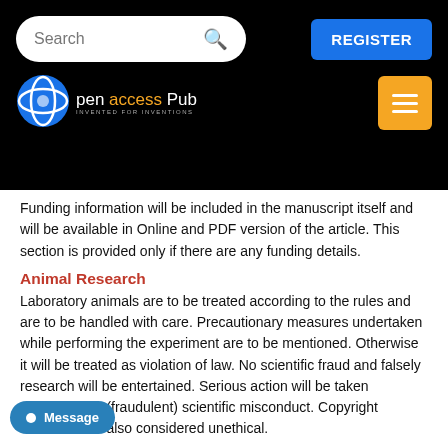[Figure (screenshot): Website header with search bar, REGISTER button, Open Access Pub logo, and hamburger menu button on black background]
Funding information will be included in the manuscript itself and will be available in Online and PDF version of the article. This section is provided only if there are any funding details.
Animal Research
Laboratory animals are to be treated according to the rules and are to be handled with care. Precautionary measures undertaken while performing the experiment are to be mentioned. Otherwise it will be treated as violation of law. No scientific fraud and falsely research will be entertained. Serious action will be taken regarding the (fraudulent) scientific misconduct. Copyright violations are also considered unethical.